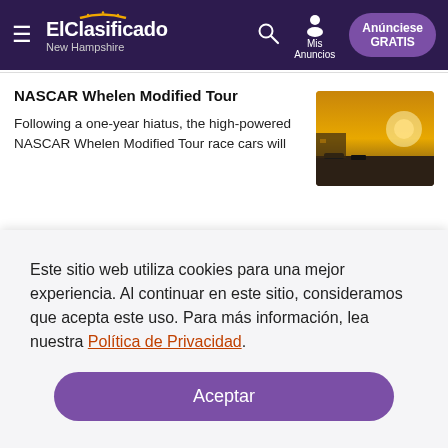ElClasificado New Hampshire — navigation bar with hamburger menu, search, Mis Anuncios, Anúnciese GRATIS
NASCAR Whelen Modified Tour
Following a one-year hiatus, the high-powered NASCAR Whelen Modified Tour race cars will
[Figure (photo): Outdoor racetrack photo with golden sunset lighting and cars/grandstands visible]
Este sitio web utiliza cookies para una mejor experiencia. Al continuar en este sitio, consideramos que acepta este uso. Para más información, lea nuestra Política de Privacidad.
Aceptar